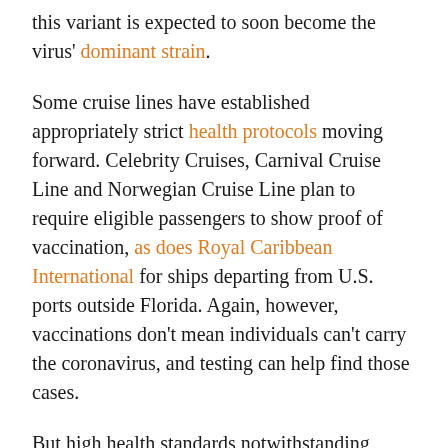this variant is expected to soon become the virus' dominant strain.
Some cruise lines have established appropriately strict health protocols moving forward. Celebrity Cruises, Carnival Cruise Line and Norwegian Cruise Line plan to require eligible passengers to show proof of vaccination, as does Royal Caribbean International for ships departing from U.S. ports outside Florida. Again, however, vaccinations don't mean individuals can't carry the coronavirus, and testing can help find those cases.
But high health standards notwithstanding, cruises docked in Florida, Texas and Alabama are in a quandary, as businesses operating in those states are barred from requiring proof of vaccination. Not only does this mean certain cruise lines will have to about-face on their regulations or cancel certain outings, it also gives passengers a harder decision. First...